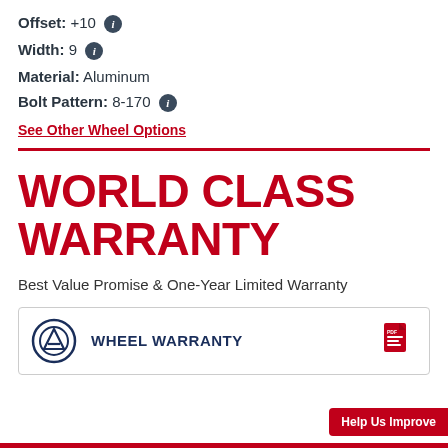Offset: +10
Width: 9
Material: Aluminum
Bolt Pattern: 8-170
See Other Wheel Options
WORLD CLASS WARRANTY
Best Value Promise & One-Year Limited Warranty
WHEEL WARRANTY
Help Us Improve